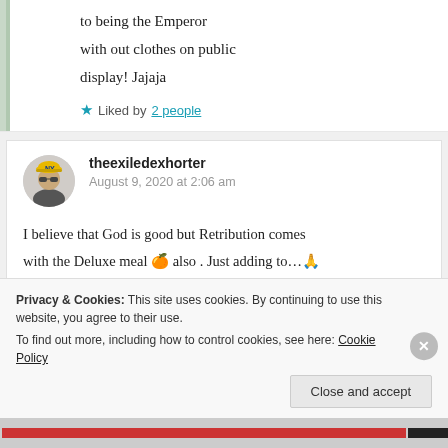to being the Emperor with out clothes on public display! Jajaja
Liked by 2 people
theexiledexhorter
August 9, 2020 at 2:06 am
I believe that God is good but Retribution comes with the Deluxe meal 🍊 also . Just adding to…🙏
Privacy & Cookies: This site uses cookies. By continuing to use this website, you agree to their use. To find out more, including how to control cookies, see here: Cookie Policy
Close and accept